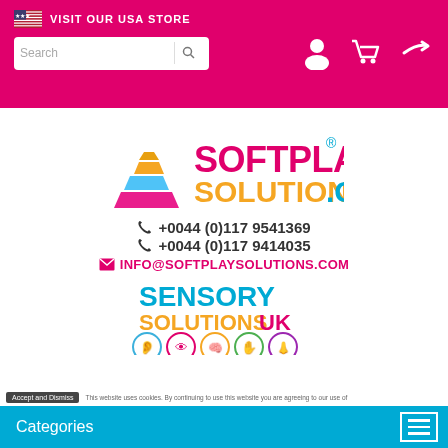VISIT OUR USA STORE
[Figure (logo): SoftPlay Solutions.com logo with stacked colored blocks pyramid]
☎ +0044 (0)117 9541369
☎ +0044 (0)117 9414035
✉ INFO@SOFTPLAYSOLUTIONS.COM
[Figure (logo): Sensory Solutions UK logo with colorful sensory icons]
This website uses cookies. By continuing to use this website you are agreeing to our use of
Categories